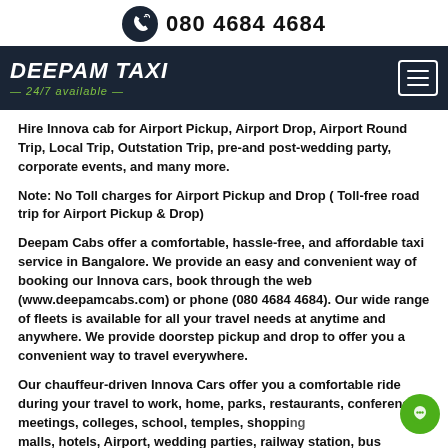080 4684 4684
[Figure (logo): Deepam Taxi logo with '24/7 available' tagline and hamburger menu on dark navy background]
Hire Innova cab for Airport Pickup, Airport Drop, Airport Round Trip, Local Trip, Outstation Trip, pre-and post-wedding party, corporate events, and many more.
Note: No Toll charges for Airport Pickup and Drop ( Toll-free road trip for Airport Pickup & Drop)
Deepam Cabs offer a comfortable, hassle-free, and affordable taxi service in Bangalore. We provide an easy and convenient way of booking our Innova cars, book through the web (www.deepamcabs.com) or phone (080 4684 4684). Our wide range of fleets is available for all your travel needs at anytime and anywhere. We provide doorstep pickup and drop to offer you a convenient way to travel everywhere.
Our chauffeur-driven Innova Cars offer you a comfortable ride during your travel to work, home, parks, restaurants, conferences, meetings, colleges, school, temples, shopping malls, hotels, Airport, wedding parties, railway station, bus...